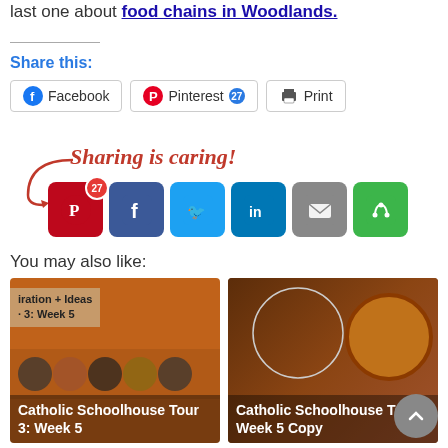last one about food chains in Woodlands.
Share this:
[Figure (screenshot): Social share buttons: Facebook, Pinterest (27), Print]
[Figure (infographic): Sharing is caring! with social media icons: Pinterest (27), Facebook, Twitter, LinkedIn, Email, circular arrow/share icon]
You may also like:
[Figure (photo): Catholic Schoolhouse Tour 3: Week 5 thumbnail card with orange background]
[Figure (photo): Catholic Schoolhouse Tour 3 Week 5 Copy thumbnail card with brown/wood background]